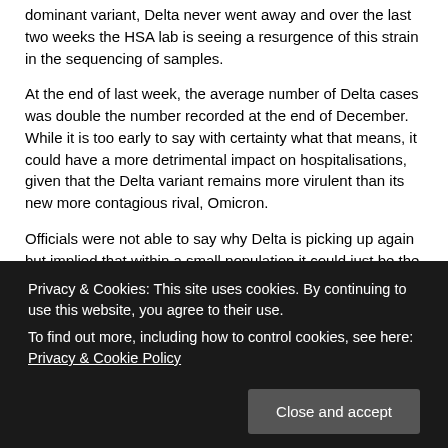dominant variant, Delta never went away and over the last two weeks the HSA lab is seeing a resurgence of this strain in the sequencing of samples.
At the end of last week, the average number of Delta cases was double the number recorded at the end of December. While it is too early to say with certainty what that means, it could have a more detrimental impact on hospitalisations, given that the Delta variant remains more virulent than its new more contagious rival, Omicron.
Officials were not able to say why Delta is picking up again but implied that within a small population it could just be the result of a small number of positive people behaving irresponsibly and spreading the strain that was always around at large gatherings.
The laboratory staff, like all of the teams within the Public Health Department that are part of the COVID management process, are pushed to the limit. Smellie said they can be running as many as
Privacy & Cookies: This site uses cookies. By continuing to use this website, you agree to their use.
To find out more, including how to control cookies, see here: Privacy & Cookie Policy
Both Smellie and Dr Brown revealed that although they don't have